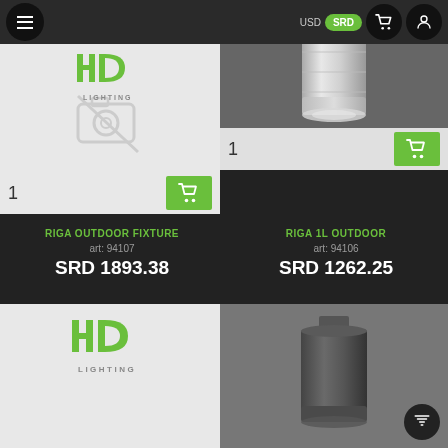USD | SRD
[Figure (photo): Product card: no image placeholder with HD Lighting logo, quantity 1, add to cart button]
[Figure (photo): Product card: Riga 1L Outdoor cylindrical light fixture photo (silver/chrome), quantity 1, add to cart button, SRD currency badge]
RIGA OUTDOOR FIXTURE
art: 94107
SRD 1893.38
RIGA 1L OUTDOOR
art: 94106
SRD 1262.25
[Figure (logo): HD Lighting logo partial view (bottom card left)]
[Figure (photo): Dark cylindrical outdoor light fixture partial view (bottom card right) with filter button]